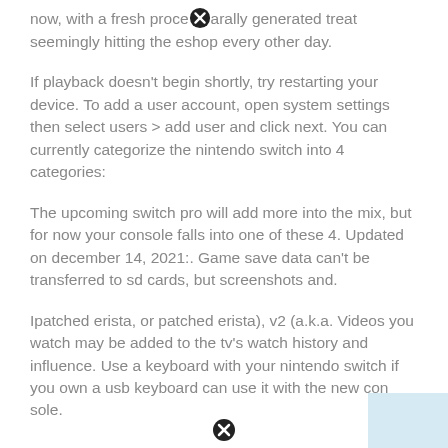now, with a fresh procedurally generated treat seemingly hitting the eshop every other day.
If playback doesn't begin shortly, try restarting your device. To add a user account, open system settings then select users > add user and click next. You can currently categorize the nintendo switch into 4 categories:
The upcoming switch pro will add more into the mix, but for now your console falls into one of these 4. Updated on december 14, 2021:. Game save data can't be transferred to sd cards, but screenshots and.
Ipatched erista, or patched erista), v2 (a.k.a. Videos you watch may be added to the tv's watch history and influence. Use a keyboard with your nintendo switch if you own a usb keyboard can use it with the new console.